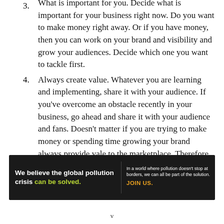3. What is important for you. Decide what is important for your business right now. Do you want to make money right away. Or if you have money, then you can work on your brand and visibility and grow your audiences. Decide which one you want to tackle first.
4. Always create value. Whatever you are learning and implementing, share it with your audience. If you've overcome an obstacle recently in your business, go ahead and share it with your audience and fans. Doesn't matter if you are trying to make money or spending time growing your brand always provide vale to the marketplace. Therefore, It can either be in the form of text posts, video, audio, blog or any other form.
5. Celebrate. Always celebrate your accomplishments
[Figure (other): Pure Earth advertisement banner: 'We believe the global pollution crisis can be solved. In a world where pollution doesn't stop at borders, we can all be part of the solution. JOIN US.' with Pure Earth logo.]
v